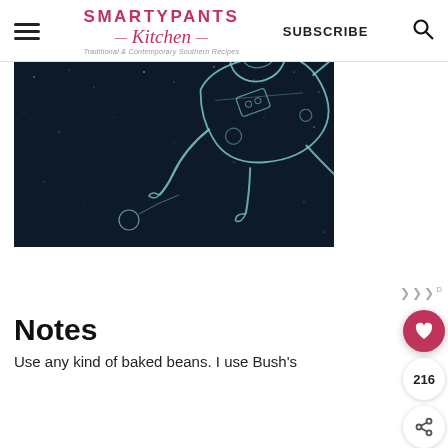SMARTYPANTS Kitchen — Traditional & Contemporary Southern Recipes — SUBSCRIBE
[Figure (illustration): Dark space illustration showing an astronaut floating in space with a comet/planet in the background, drawn in a sketch/line art style on a dark navy background.]
Notes
Use any kind of baked beans. I use Bush's